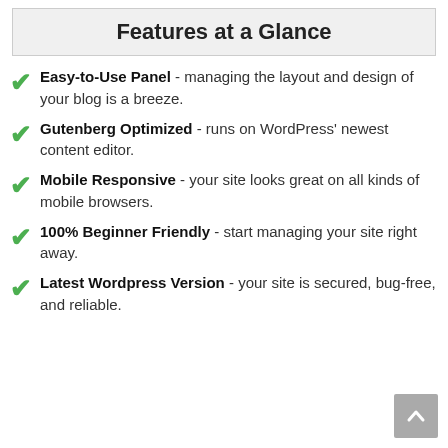Features at a Glance
Easy-to-Use Panel - managing the layout and design of your blog is a breeze.
Gutenberg Optimized - runs on WordPress' newest content editor.
Mobile Responsive - your site looks great on all kinds of mobile browsers.
100% Beginner Friendly - start managing your site right away.
Latest Wordpress Version - your site is secured, bug-free, and reliable.